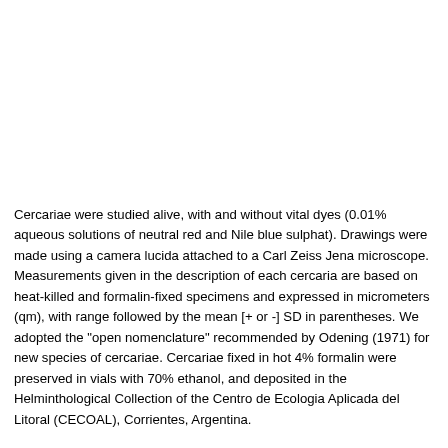Cercariae were studied alive, with and without vital dyes (0.01% aqueous solutions of neutral red and Nile blue sulphat). Drawings were made using a camera lucida attached to a Carl Zeiss Jena microscope. Measurements given in the description of each cercaria are based on heat-killed and formalin-fixed specimens and expressed in micrometers (qm), with range followed by the mean [+ or -] SD in parentheses. We adopted the "open nomenclature" recommended by Odening (1971) for new species of cercariae. Cercariae fixed in hot 4% formalin were preserved in vials with 70% ethanol, and deposited in the Helminthological Collection of the Centro de Ecologia Aplicada del Litoral (CECOAL), Corrientes, Argentina.